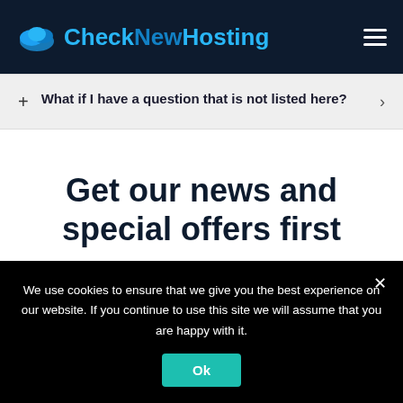CheckNewHosting
+ What if I have a question that is not listed here? >
Get our news and special offers first
Fields marked with an * are required
First Name
We use cookies to ensure that we give you the best experience on our website. If you continue to use this site we will assume that you are happy with it. Ok